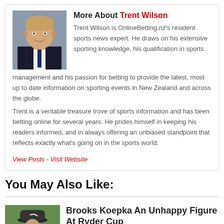More About Trent Wilson
[Figure (photo): Headshot of Trent Wilson, a man in a dark suit and tie, smiling]
Trent Wilson is OnlineBetting.nz's resident sports news expert. He draws on his extensive sporting knowledge, his qualification in sports management and his passion for betting to provide the latest, most up to date information on sporting events in New Zealand and across the globe.
Trent is a veritable treasure trove of sports information and has been betting online for several years. He prides himself in keeping his readers informed, and in always offering an unbiased standpoint that reflects exactly what's going on in the sports world.
View Posts - Visit Website
You May Also Like:
[Figure (photo): Photo of Brooks Koepka wearing a Nike cap outdoors]
Brooks Koepka An Unhappy Figure At Ryder Cup